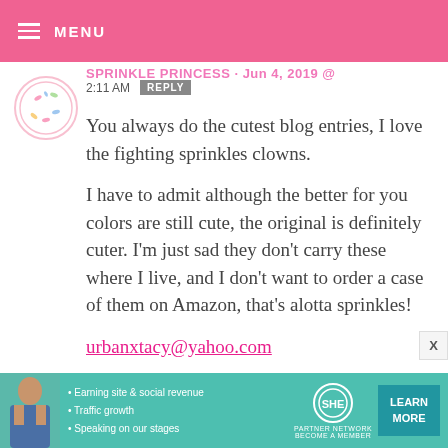MENU
2:11 AM  REPLY
You always do the cutest blog entries, I love the fighting sprinkles clowns.

I have to admit although the better for you colors are still cute, the original is definitely cuter. I'm just sad they don't carry these where I live, and I don't want to order a case of them on Amazon, that's alotta sprinkles!

urbanxtacy@yahoo.com
[Figure (infographic): SHE Partner Network advertisement banner with photo of woman, bullet points about earning site & social revenue, traffic growth, speaking on stages, SHE logo, and Learn More button]